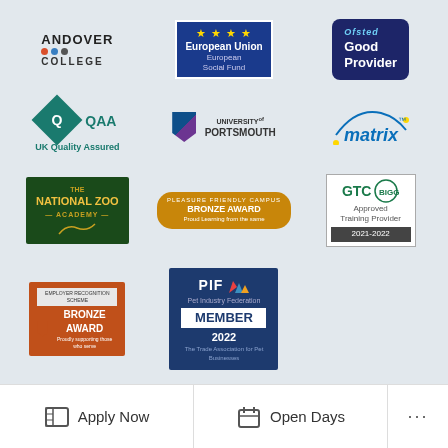[Figure (logo): Andover College logo with red, blue, dark dots]
[Figure (logo): European Union European Social Fund logo]
[Figure (logo): Ofsted Good Provider badge]
[Figure (logo): QAA UK Quality Assured logo]
[Figure (logo): University of Portsmouth logo]
[Figure (logo): Matrix logo]
[Figure (logo): The National Zoo Academy logo]
[Figure (logo): Pleasure Friendly Campus Bronze Award logo]
[Figure (logo): GTC BIGGA Approved Training Provider 2021-2022 badge]
[Figure (logo): Employer Recognition Scheme Bronze Award logo]
[Figure (logo): PIF Pet Industry Federation Member 2022 logo]
Apply Now
Open Days
...